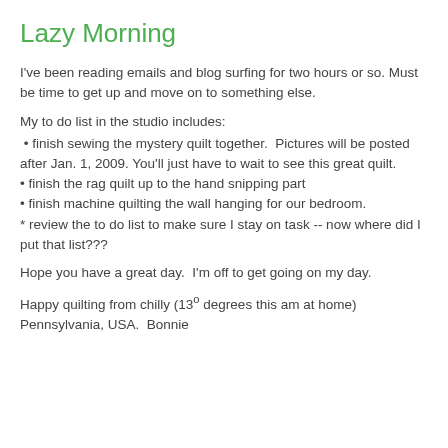Lazy Morning
I've been reading emails and blog surfing for two hours or so.  Must be time to get up and move on to something else.
My to do list in the studio includes:
• finish sewing the mystery quilt together.  Pictures will be posted after Jan. 1, 2009. You'll just have to wait to see this great quilt.
• finish the rag quilt up to the hand snipping part
• finish machine quilting the wall hanging for our bedroom.
* review the to do list to make sure I stay on task -- now where did I put that list???
Hope you have a great day.  I'm off to get going on my day.
Happy quilting from chilly (13º degrees this am at home) Pennsylvania, USA.  Bonnie